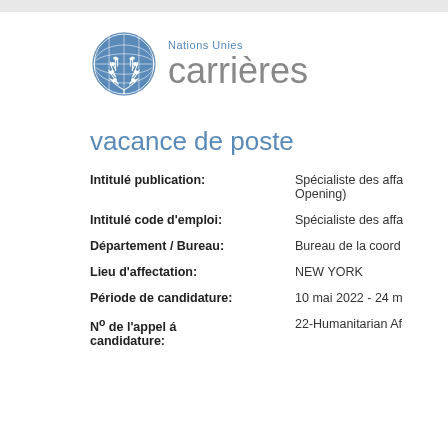[Figure (logo): United Nations emblem (blue globe with olive branches) alongside 'Nations Unies carrières' text logo]
vacance de poste
Intitulé publication: Spécialiste des affa... Opening)
Intitulé code d'emploi: Spécialiste des affa...
Département / Bureau: Bureau de la coord...
Lieu d'affectation: NEW YORK
Période de candidature: 10 mai 2022 - 24 m...
N° de l'appel á candidature: 22-Humanitarian Af...